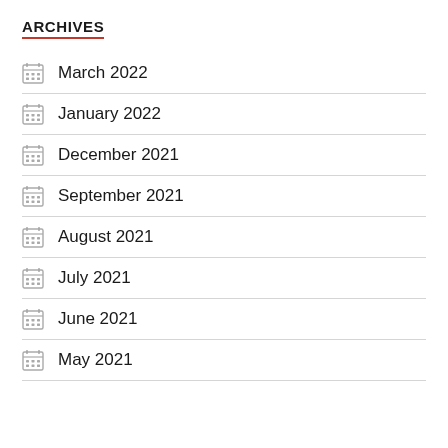ARCHIVES
March 2022
January 2022
December 2021
September 2021
August 2021
July 2021
June 2021
May 2021